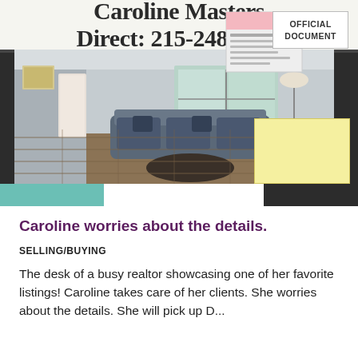[Figure (photo): A realtor's desk area showing a photograph of a living room listing with a sofa, hardwood floors, and large windows. On the bulletin board/desk there is a document labeled 'OFFICIAL DOCUMENT', some papers, a yellow sticky note, and a teal-colored strip at the bottom. At the top of the frame is a sign reading 'Caroline Masters Direct: 215-248-6567'.]
Caroline worries about the details.
SELLING/BUYING
The desk of a busy realtor showcasing one of her favorite listings! Caroline takes care of her clients. She worries about the details. She will pick up D...